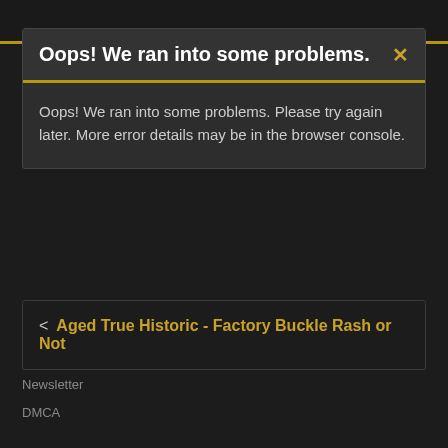Oops! We ran into some problems.
Oops! We ran into some problems. Please try again later. More error details may be in the browser console.
< Aged True Historic - Factory Buckle Rash or Not
Newsletter
DMCA